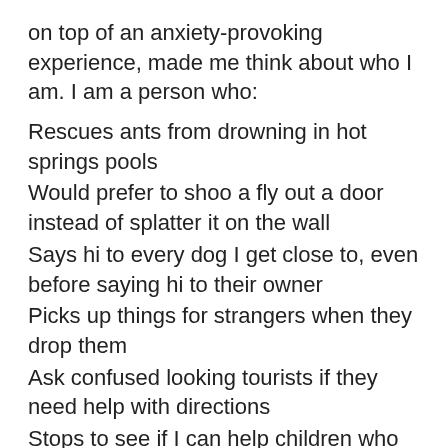on top of an anxiety-provoking experience, made me think about who I am. I am a person who:
Rescues ants from drowning in hot springs pools
Would prefer to shoo a fly out a door instead of splatter it on the wall
Says hi to every dog I get close to, even before saying hi to their owner
Picks up things for strangers when they drop them
Ask confused looking tourists if they need help with directions
Stops to see if I can help children who look lost and scared
Wants to tell you if your tire is going flat when I'm driving next to you
Tries to help an old friend who I haven't spoken with in years who posts a suicidal message on social media (this